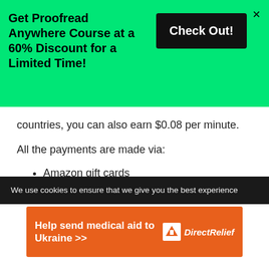[Figure (screenshot): Green promotional banner with text 'Get Proofread Anywhere Course at a 60% Discount for a Limited Time!' and a black 'Check Out!' button, with an X close button]
countries, you can also earn $0.08 per minute.
All the payments are made via:
Amazon gift cards
Bitcoin
Bitcoin Wallet
Donate your earnings to charity
We use cookies to ensure that we give you the best experience
[Figure (infographic): Orange Direct Relief ad banner: 'Help send medical aid to Ukraine >>' with Direct Relief logo and name]